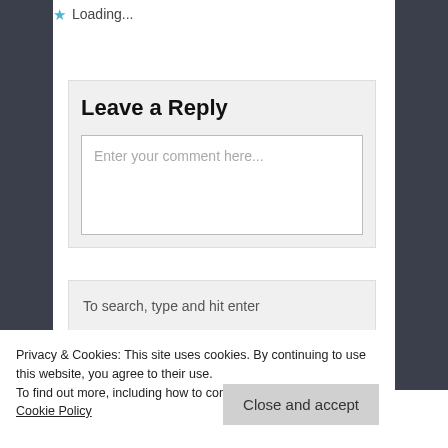Loading...
Leave a Reply
Enter your comment here...
To search, type and hit enter
Privacy & Cookies: This site uses cookies. By continuing to use this website, you agree to their use.
To find out more, including how to control cookies, see here: Our Cookie Policy
Close and accept
sewage discharged into sea of